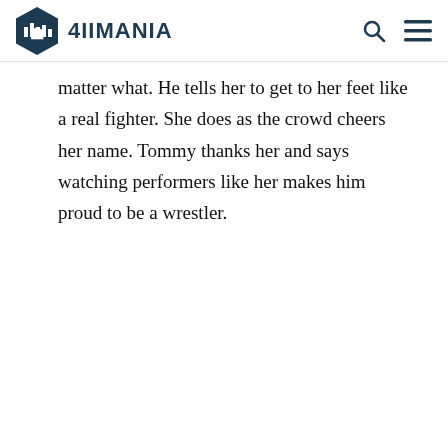4IIMANIA
matter what. He tells her to get to her feet like a real fighter. She does as the crowd cheers her name. Tommy thanks her and says watching performers like her makes him proud to be a wrestler.